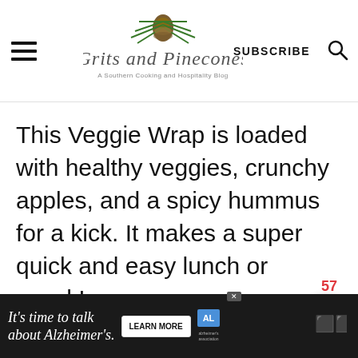Grits and Pinecones — A Southern Cooking and Hospitality Blog | SUBSCRIBE
This Veggie Wrap is loaded with healthy veggies, crunchy apples, and a spicy hummus for a kick. It makes a super quick and easy lunch or snack!
[Figure (screenshot): Advertisement banner: It's time to talk about Alzheimer's. Learn More. Alzheimer's Association logo.]